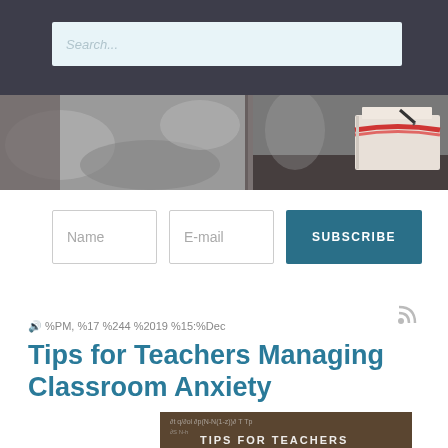Search...
[Figure (photo): Grayscale photo banner showing books with red ribbon on a dark surface, with blurred background]
Name
E-mail
SUBSCRIBE
🔊 %PM, %17 %244 %2019 %15:%Dec
Tips for Teachers Managing Classroom Anxiety
[Figure (photo): Chalkboard with math equations and text TIPS FOR TEACHERS]